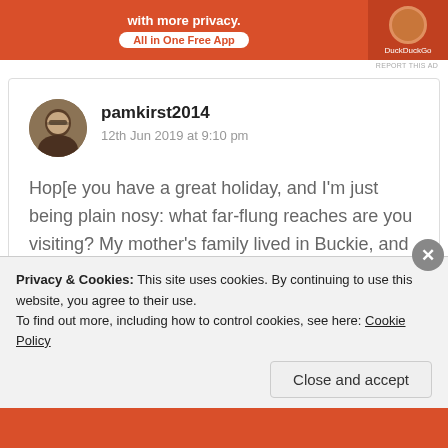[Figure (illustration): DuckDuckGo advertisement banner — orange background with text 'with more privacy. All in One Free App' and DuckDuckGo logo on right side]
REPORT THIS AD
pamkirst2014
12th Jun 2019 at 9:10 pm
Hop[e you have a great holiday, and I'm just being plain nosy: what far-flung reaches are you visiting? My mother's family lived in Buckie, and that's pretty far-flung… Wherever you're headed, I look
Privacy & Cookies: This site uses cookies. By continuing to use this website, you agree to their use.
To find out more, including how to control cookies, see here: Cookie Policy
Close and accept